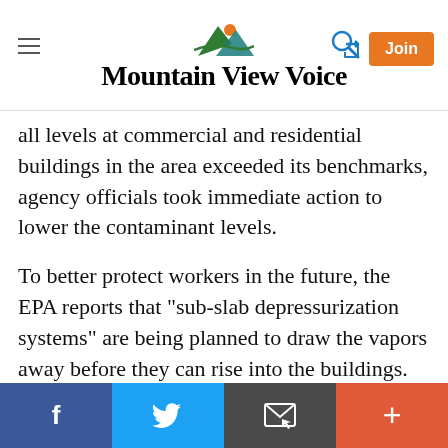Mountain View Voice
all levels at commercial and residential buildings in the area exceeded its benchmarks, agency officials took immediate action to lower the contaminant levels.
To better protect workers in the future, the EPA reports that "sub-slab depressurization systems" are being planned to draw the vapors away before they can rise into the buildings.
Craving a new voice in Peninsula dining?
Sign up for the Peninsula Foodist newsletter.
Sign up now
Facebook | Twitter | Email | More